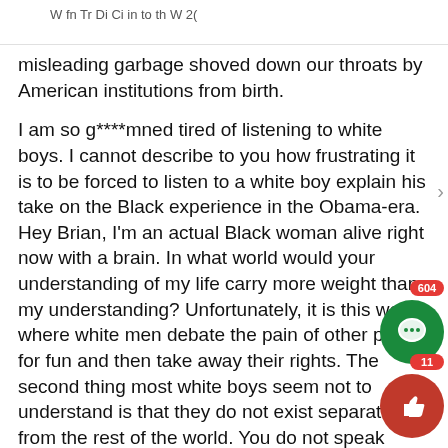W fn Tr Di Ci in to th W 20
misleading garbage shoved down our throats by American institutions from birth.
I am so g****mned tired of listening to white boys. I cannot describe to you how frustrating it is to be forced to listen to a white boy explain his take on the Black experience in the Obama-era. Hey Brian, I'm an actual Black woman alive right now with a brain. In what world would your understanding of my life carry more weight than my understanding? Unfortunately, it is this world, where white men debate the pain of other people for fun and then take away their rights. The second thing most white boys seem not to understand is that they do not exist separate from the rest of the world. You do not speak alone, you speak with the weight of every other white man who has spoken over a woman, erased the contributions of queer people from history, or denigrated "broken English" as unintelligent. You speak with the weig